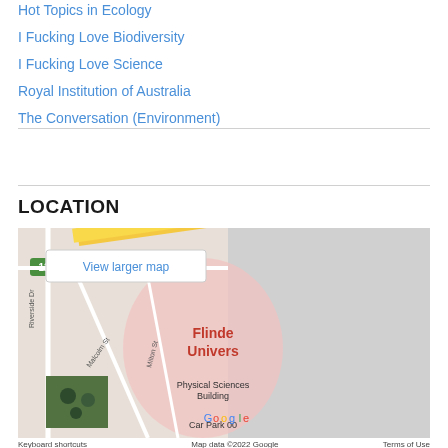Hot Topics in Ecology
I Fucking Love Biodiversity
I Fucking Love Science
Royal Institution of Australia
The Conversation (Environment)
LOCATION
[Figure (map): Google Map showing Flinders University area with streets including Riverside Dr, Malcolm St, Milton St, and Physical Sciences Building labeled. A 'View larger map' popup is visible. Map data ©2022 Google.]
Keyboard shortcuts   Map data ©2022 Google   Terms of Use